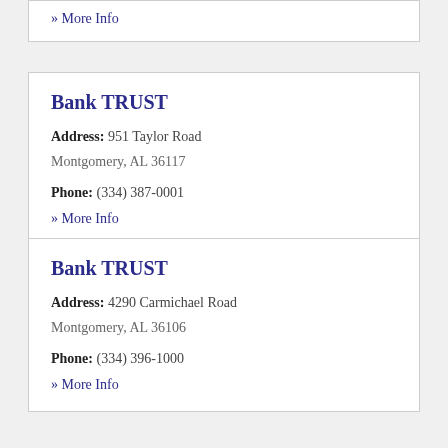» More Info
Bank TRUST
Address: 951 Taylor Road Montgomery, AL 36117
Phone: (334) 387-0001
» More Info
Bank TRUST
Address: 4290 Carmichael Road Montgomery, AL 36106
Phone: (334) 396-1000
» More Info